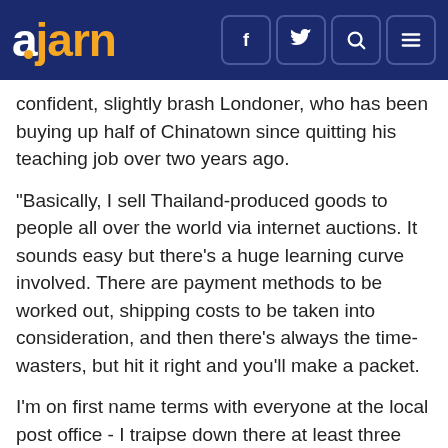ajarn [navigation icons: f, twitter, search, menu]
confident, slightly brash Londoner, who has been buying up half of Chinatown since quitting his teaching job over two years ago.
"Basically, I sell Thailand-produced goods to people all over the world via internet auctions. It sounds easy but there's a huge learning curve involved. There are payment methods to be worked out, shipping costs to be taken into consideration, and then there's always the time-wasters, but hit it right and you'll make a packet.
I'm on first name terms with everyone at the local post office - I traipse down there at least three times a week to send my little packages all over the world. Nothing illegal you understand - simply stuff that people can't get unless they come to Thailand (laughs) and other than that, my lips are sealed. I don't really want the competition"
Lester did also mention that he makes six times the amount